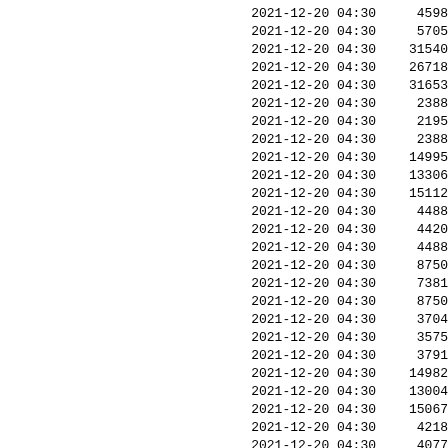| datetime | value |
| --- | --- |
| 2021-12-20 04:30 | 4598 |
| 2021-12-20 04:30 | 5705 |
| 2021-12-20 04:30 | 31540 |
| 2021-12-20 04:30 | 26718 |
| 2021-12-20 04:30 | 31653 |
| 2021-12-20 04:30 | 2388 |
| 2021-12-20 04:30 | 2195 |
| 2021-12-20 04:30 | 2388 |
| 2021-12-20 04:30 | 14995 |
| 2021-12-20 04:30 | 13306 |
| 2021-12-20 04:30 | 15112 |
| 2021-12-20 04:30 | 4488 |
| 2021-12-20 04:30 | 4420 |
| 2021-12-20 04:30 | 4488 |
| 2021-12-20 04:30 | 8750 |
| 2021-12-20 04:30 | 7381 |
| 2021-12-20 04:30 | 8750 |
| 2021-12-20 04:30 | 3704 |
| 2021-12-20 04:30 | 3575 |
| 2021-12-20 04:30 | 3791 |
| 2021-12-20 04:30 | 14982 |
| 2021-12-20 04:30 | 13004 |
| 2021-12-20 04:30 | 15067 |
| 2021-12-20 04:30 | 4218 |
| 2021-12-20 04:30 | 4077 |
| 2021-12-20 04:30 | 4218 |
| 2021-12-20 04:30 | 4787 |
| 2021-12-20 04:30 | 3690 |
| 2021-12-20 04:30 | 4787 |
| 2021-12-20 04:30 | 13148 |